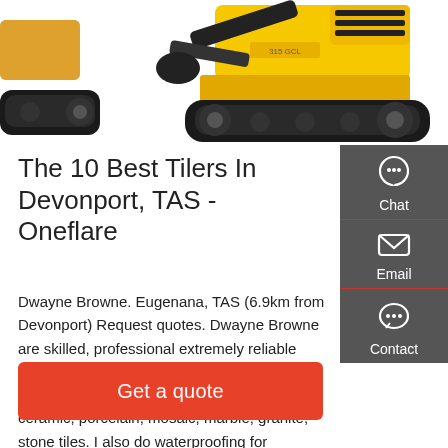[Figure (photo): Partial view of a yellow and black excavator/construction machine on white background, cropped at top]
The 10 Best Tilers In Devonport, TAS - Oneflare
Dwayne Browne. Eugenana, TAS (6.9km from Devonport) Request quotes. Dwayne Browne are skilled, professional extremely reliable providing the very best roofing services. Specialise in all aspects of tiles including ceramic, porcelain, mosaic, marble, granite, stone tiles. I also do waterproofing for bathrooms and kitchens.
[Figure (infographic): Dark grey sidebar with three contact options: Chat (headset icon), Email (envelope icon), Contact (speech bubble icon), each separated by a red line]
Get a quote